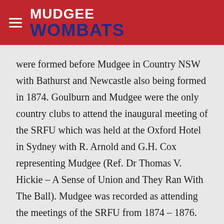MUDGEE WOMBATS
were formed before Mudgee in Country NSW with Bathurst and Newcastle also being formed in 1874. Goulburn and Mudgee were the only country clubs to attend the inaugural meeting of the SRFU which was held at the Oxford Hotel in Sydney with R. Arnold and G.H. Cox representing Mudgee (Ref. Dr Thomas V. Hickie – A Sense of Union and They Ran With The Ball). Mudgee was recorded as attending the meetings of the SRFU from 1874 – 1876. The SRFU later became the NSW Rugby Football Union.